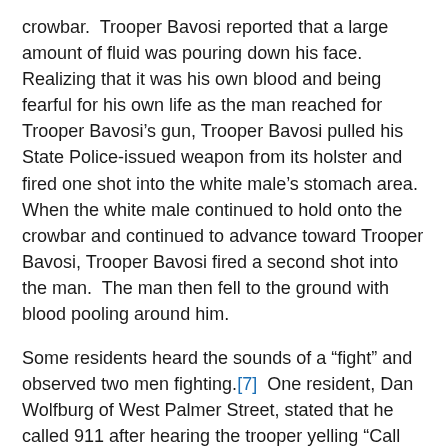crowbar.  Trooper Bavosi reported that a large amount of fluid was pouring down his face.  Realizing that it was his own blood and being fearful for his own life as the man reached for Trooper Bavosi’s gun, Trooper Bavosi pulled his State Police-issued weapon from its holster and fired one shot into the white male’s stomach area.  When the white male continued to hold onto the crowbar and continued to advance toward Trooper Bavosi, Trooper Bavosi fired a second shot into the man.  The man then fell to the ground with blood pooling around him.
Some residents heard the sounds of a “fight” and observed two men fighting.[7]  One resident, Dan Wolfburg of West Palmer Street, stated that he called 911 after hearing the trooper yelling “Call 911, Officer down!” Trooper Bavosi attempted to report the shooting to Troop D via portable radio.  He was unable to hear